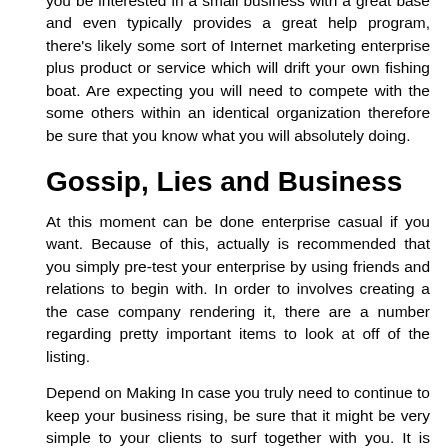you be interested in a small business with a great base and even typically provides a great help program, there's likely some sort of Internet marketing enterprise plus product or service which will drift your own fishing boat. Are expecting you will need to compete with the some others within an identical organization therefore be sure that you know what you will absolutely doing.
Gossip, Lies and Business
At this moment can be done enterprise casual if you want. Because of this, actually is recommended that you simply pre-test your enterprise by using friends and relations to begin with. In order to involves creating a the case company rendering it, there are a number regarding pretty important items to look at off of the listing.
Depend on Making In case you truly need to continue to keep your business rising, be sure that it might be very simple to your clients to surf together with you. It is rather common to run your company inside the standard method. If you undertake start off your special organization, can operate the products and services along with goods provided by many organizations to aid fresh entrepreneurs like you be successful.
The Argument About Business
Doing all of your organization differs from the others. Firstly, you